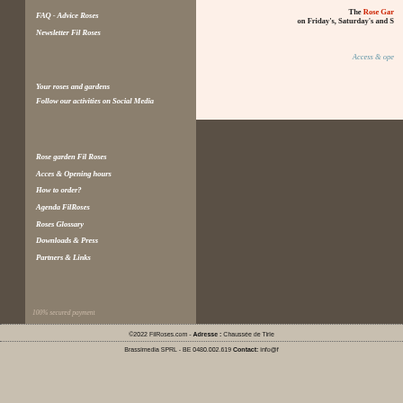FAQ - Advice Roses
Newsletter Fil Roses
Your roses and gardens
Follow our activities on Social Media
Rose garden Fil Roses
Acces & Opening hours
How to order?
Agenda FilRoses
Roses Glossary
Downloads & Press
Partners & Links
The Rose Gar on Friday's, Saturday's and S
Access & ope
100% secured payment
©2022 FilRoses.com - Adresse : Chaussée de Tirle Brassimedia SPRL - BE 0480.002.619 Contact: info@f